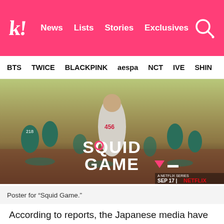k! News Lists Stories Exclusives
BTS TWICE BLACKPINK aespa NCT IVE SHIN
[Figure (photo): Promotional poster for Squid Game Netflix series featuring cast members in teal tracksuits with the Squid Game logo and 'A Netflix Series Sep 17' text]
Poster for “Squid Game.”
According to reports, the Japanese media have been downplaying the success of Squid Game, sharing numerous reasons why they believe the series is not as popular as the media wants you to believe. Japanese economic site Modern